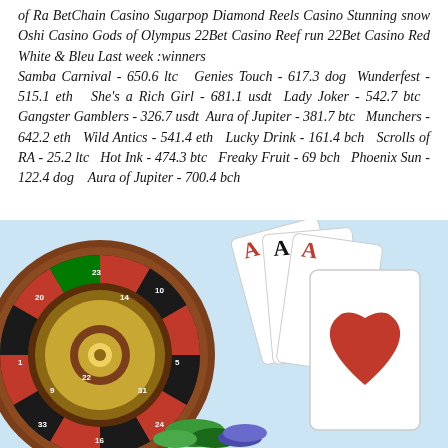of Ra BetChain Casino Sugarpop Diamond Reels Casino Stunning snow Oshi Casino Gods of Olympus 22Bet Casino Reef run 22Bet Casino Red White & Bleu Last week winners: Samba Carnival - 650.6 ltc  Genies Touch - 617.3 dog  Wunderfest - 515.1 eth  She's a Rich Girl - 681.1 usdt  Lady Joker - 542.7 btc  Gangster Gamblers - 326.7 usdt  Aura of Jupiter - 381.7 btc  Munchers - 642.2 eth  Wild Antics - 541.4 eth  Lucky Drink - 161.4 bch  Scrolls of RA - 25.2 ltc  Hot Ink - 474.3 btc  Freaky Fruit - 69 bch  Phoenix Sun - 122.4 dog  Aura of Jupiter - 700.4 bch
[Figure (illustration): Casino themed illustration showing a roulette wheel on the left and four playing cards (aces of diamonds, spades, hearts, and another ace) fanned out on the right, with casino chips at the bottom center, on a light blue background.]